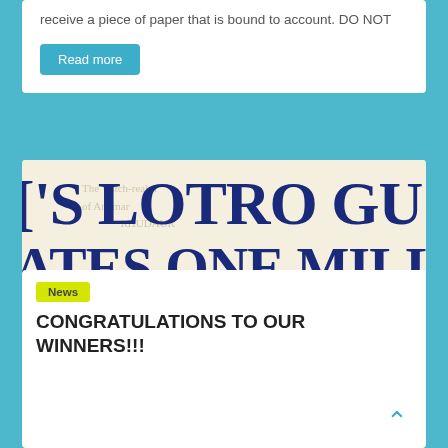receive a piece of paper that is bound to account. DO NOT
Read more
[Figure (illustration): Banner image with text on a parchment/cream background: "[']S LOTRO GU" on first line, "ATES ONE MILLION" on second line in dark navy serif bold font, and "ATS TO ALL THE WIN[NERS]" in large red serif bold font. Background shows faint map/watermark imagery.]
News
CONGRATULATIONS TO OUR WINNERS!!!